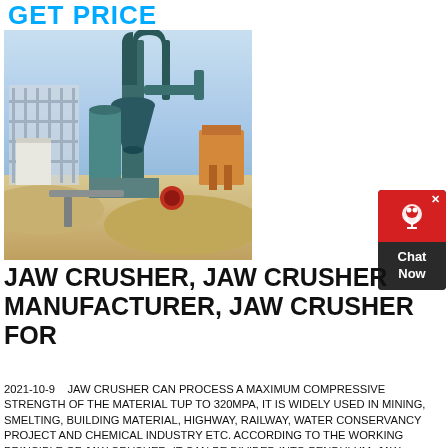GET PRICE
[Figure (photo): Industrial jaw crusher / grinding mill equipment at a construction or mining site with large cylindrical and conical metal structures, scaffolding in the background, sandy terrain]
[Figure (other): Chat Now widget — red top with headset icon and X close button, dark background with 'Chat Now' text]
JAW CRUSHER, JAW CRUSHER MANUFACTURER, JAW CRUSHER FOR
2021-10-9    JAW CRUSHER CAN PROCESS A MAXIMUM COMPRESSIVE STRENGTH OF THE MATERIAL TUP TO 320MPA, IT IS WIDELY USED IN MINING, SMELTING, BUILDING MATERIAL, HIGHWAY, RAILWAY, WATER CONSERVANCY PROJECT AND CHEMICAL INDUSTRY ETC. ACCORDING TO THE WORKING PRINCIPLE OF JAW CRUSHER, IT CAN BE DIVIDED INTO PENDULUM, JAW